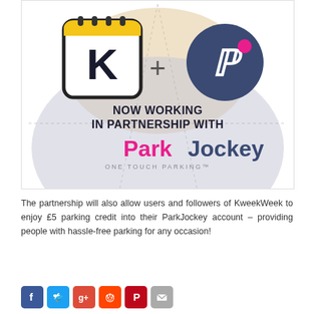[Figure (infographic): Infographic showing KweekWeek (calendar logo with K) + ParkJockey logos over a beige/grey circular background, with text 'NOW WORKING IN PARTNERSHIP WITH ParkJockey ONE TOUCH PARKING']
The partnership will also allow users and followers of KweekWeek to enjoy £5 parking credit into their ParkJockey account – providing people with hassle-free parking for any occasion!
[Figure (infographic): Social media share icons: Facebook, Twitter, Google+, Reddit, Pinterest, Email]